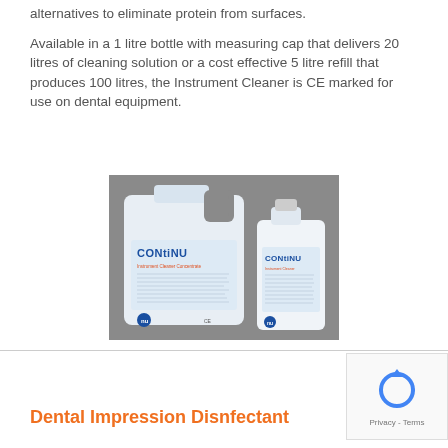alternatives to eliminate protein from surfaces.
Available in a 1 litre bottle with measuring cap that delivers 20 litres of cleaning solution or a cost effective 5 litre refill that produces 100 litres, the Instrument Cleaner is CE marked for use on dental equipment.
[Figure (photo): Two white plastic containers of Continu Instrument Cleaner Concentrate — a large 5 litre jug and a smaller 1 litre bottle, both labelled 'CONtiNU Instrument Cleaner Concentrate', photographed against a grey background.]
Dental Impression Disnfectant